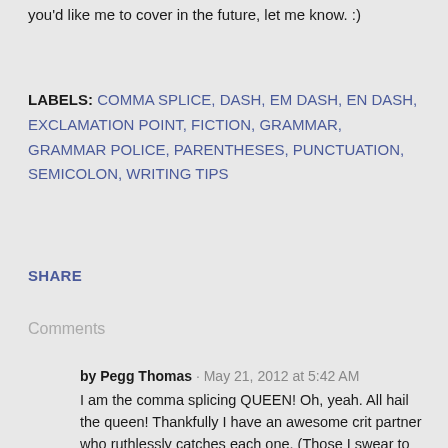you'd like me to cover in the future, let me know. :)
LABELS: COMMA SPLICE, DASH, EM DASH, EN DASH, EXCLAMATION POINT, FICTION, GRAMMAR, GRAMMAR POLICE, PARENTHESES, PUNCTUATION, SEMICOLON, WRITING TIPS
SHARE
Comments
by Pegg Thomas · May 21, 2012 at 5:42 AM
I am the comma splicing QUEEN! Oh, yeah. All hail the queen! Thankfully I have an awesome crit partner who ruthlessly catches each one. (Those I swear to myself, once again, weren't in there.)